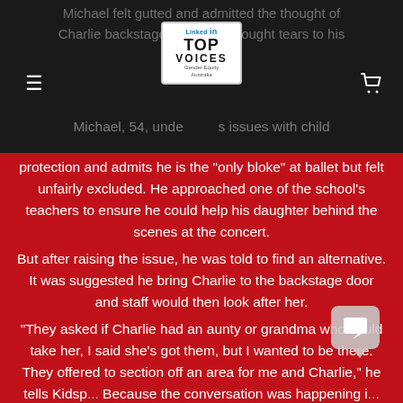[Figure (screenshot): Dark navigation header bar with hamburger menu icon on left, LinkedIn Top Voices Gender Equity Australia badge in center, cart icon on right. Faded background text partially visible.]
Michael felt gutted and admitted the thought of Charlie backstage by [badge] brought tears to his
Michael, 54, under[badge]s issues with child
protection and admits he is the “only bloke” at ballet but felt unfairly excluded. He approached one of the school’s teachers to ensure he could help his daughter behind the scenes at the concert.
But after raising the issue, he was told to find an alternative. It was suggested he bring Charlie to the backstage door and staff would then look after her.
“They asked if Charlie had an aunty or grandma who could take her, I said she’s got them, but I wanted to be there. They offered to section off an area for me and Charlie,” he tells Kidsp[artner]. Because the conversation was happening in [front] of Charlie, he decided to discuss it later.